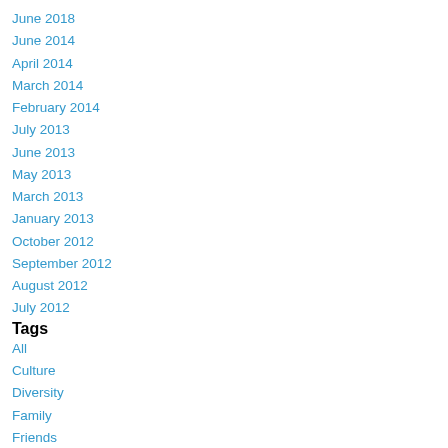June 2018
June 2014
April 2014
March 2014
February 2014
July 2013
June 2013
May 2013
March 2013
January 2013
October 2012
September 2012
August 2012
July 2012
Tags
All
Culture
Diversity
Family
Friends